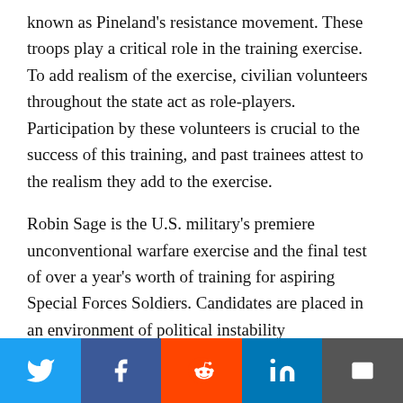known as Pineland's resistance movement. These troops play a critical role in the training exercise. To add realism of the exercise, civilian volunteers throughout the state act as role-players. Participation by these volunteers is crucial to the success of this training, and past trainees attest to the realism they add to the exercise.
Robin Sage is the U.S. military's premiere unconventional warfare exercise and the final test of over a year's worth of training for aspiring Special Forces Soldiers. Candidates are placed in an environment of political instability characterized by armed conflict, forcing Soldiers to analyze and solve
[Figure (infographic): Social media sharing bar with Twitter, Facebook, Reddit, LinkedIn, and Email buttons]